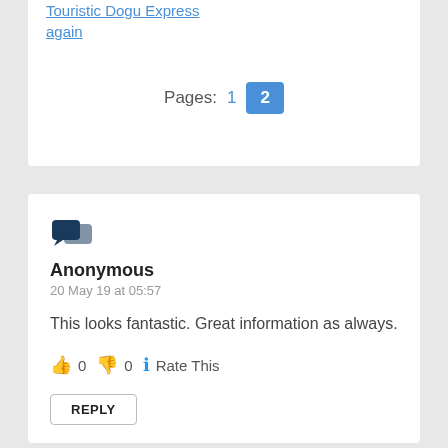Touristic Dogu Express again
Pages: 1 2
[Figure (illustration): Comment avatar icon showing two overlapping speech bubbles in dark teal/navy color]
Anonymous
20 May 19 at 05:57
This looks fantastic. Great information as always.
👍 0 👎 0 ℹ Rate This
REPLY